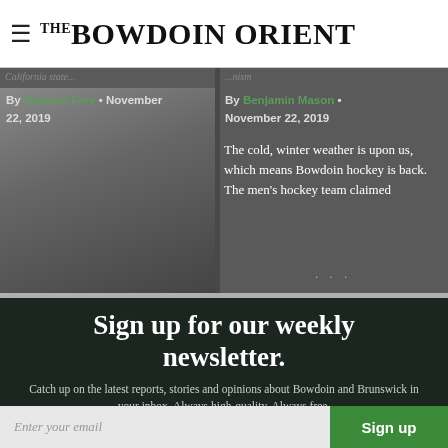THE BOWDOIN ORIENT
By Seamus Frey • November 22, 2019
By Benjamin Mason • November 22, 2019
The cold, winter weather is upon us, which means Bowdoin hockey is back. The men's hockey team claimed
Sign up for our weekly newsletter.
Catch up on the latest reports, stories and opinions about Bowdoin and Brunswick in your inbox. Always high-quality. Always free.